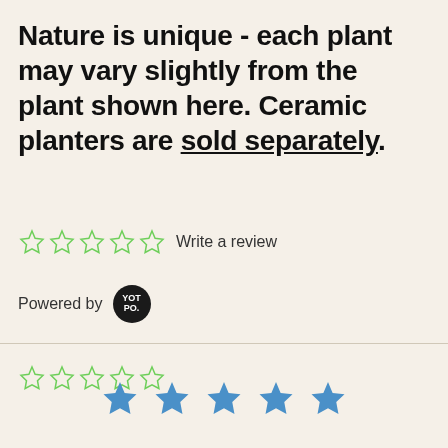Nature is unique - each plant may vary slightly from the plant shown here. Ceramic planters are sold separately.
[Figure (other): Five empty (outline) green star icons followed by 'Write a review' text link]
Powered by YOTPO
[Figure (other): Five empty (outline) green star icons for rating display]
[Figure (other): Five filled blue star icons]